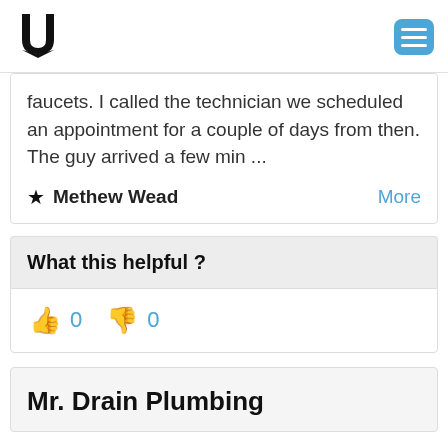U [logo] [hamburger menu]
faucets. I called the technician we scheduled an appointment for a couple of days from then. The guy arrived a few min ...
★ Methew Wead    More
What this helpful ?
👍 0    👎 0
Mr. Drain Plumbing